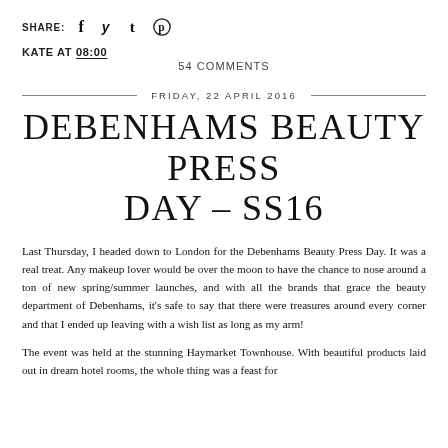SHARE: [facebook] [twitter] [tumblr] [pinterest]
KATE AT 08:00
54 COMMENTS
FRIDAY, 22 APRIL 2016
DEBENHAMS BEAUTY PRESS DAY – SS16
Last Thursday, I headed down to London for the Debenhams Beauty Press Day. It was a real treat. Any makeup lover would be over the moon to have the chance to nose around a ton of new spring/summer launches, and with all the brands that grace the beauty department of Debenhams, it's safe to say that there were treasures around every corner and that I ended up leaving with a wish list as long as my arm!
The event was held at the stunning Haymarket Townhouse. With beautiful products laid out in dream hotel rooms, the whole thing was a feast for